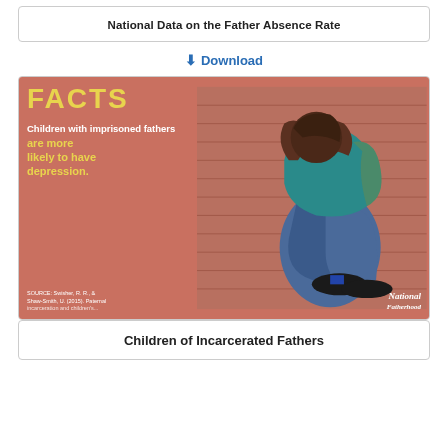National Data on the Father Absence Rate
⬇ Download
[Figure (infographic): Infographic with salmon/terra cotta background showing a child sitting with knees up and head down against a brick wall. Left side text reads: FACTS — Children with imprisoned fathers are more likely to have depression. Source: Swisher, R. R., & Shaw-Smith, U. (2015). Paternal... Bottom right shows National [fatherhood] logo.]
Children of Incarcerated Fathers